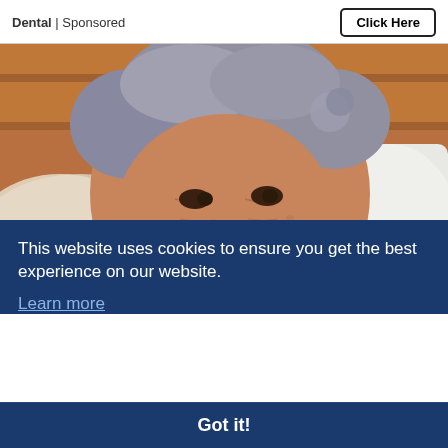Dental | Sponsored
Click Here
[Figure (photo): Close-up photo of an elderly woman with grey curly hair, deeply wrinkled face, sitting in what appears to be a hospital or care setting with white/beige bedding behind her and a wooden wall in the background.]
This website uses cookies to ensure you get the best experience on our website.
Learn more
ur
earn More
Got it!